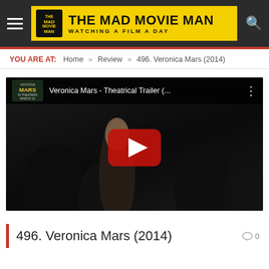THE MAD MOVIE MAN — WATCHING A FILM A DAY
YOU ARE AT: Home » Review » 496. Veronica Mars (2014)
[Figure (screenshot): YouTube embedded video player showing the Veronica Mars Theatrical Trailer with play button overlay, dark scene background with people silhouettes]
496. Veronica Mars (2014)